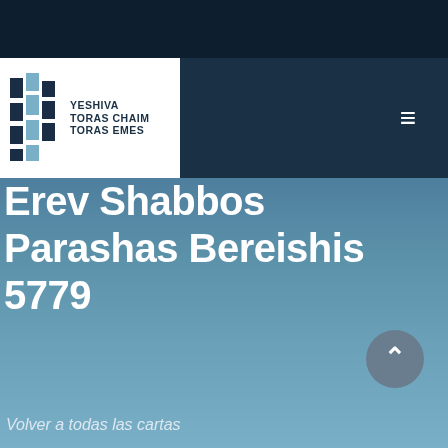[Figure (logo): Yeshiva Toras Chaim Toras Emes logo with geometric book/column icon in dark blue and light blue, white background]
Erev Shabbos Parashas Bereishis 5779
Volver a todas las cartas